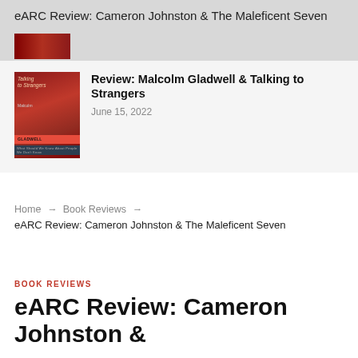eARC Review: Cameron Johnston & The Maleficent Seven
[Figure (photo): Red book cover thumbnail partially visible]
Review: Malcolm Gladwell & Talking to Strangers
June 15, 2022
Home → Book Reviews → eARC Review: Cameron Johnston & The Maleficent Seven
BOOK REVIEWS
eARC Review: Cameron Johnston &